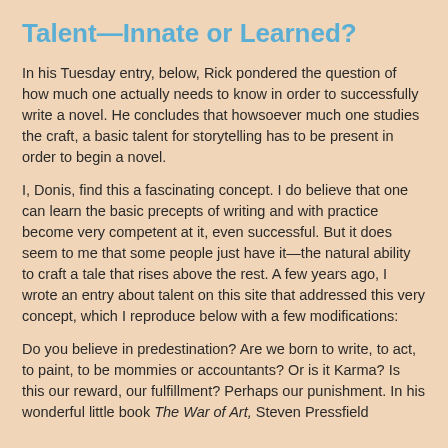Talent—Innate or Learned?
In his Tuesday entry, below, Rick pondered the question of how much one actually needs to know in order to successfully write a novel. He concludes that howsoever much one studies the craft, a basic talent for storytelling has to be present in order to begin a novel.
I, Donis, find this a fascinating concept. I do believe that one can learn the basic precepts of writing and with practice become very competent at it, even successful. But it does seem to me that some people just have it—the natural ability to craft a tale that rises above the rest. A few years ago, I wrote an entry about talent on this site that addressed this very concept, which I reproduce below with a few modifications:
Do you believe in predestination? Are we born to write, to act, to paint, to be mommies or accountants? Or is it Karma? Is this our reward, our fulfillment? Perhaps our punishment. In his wonderful little book The War of Art, Steven Pressfield says that basically we have an appointment with God...